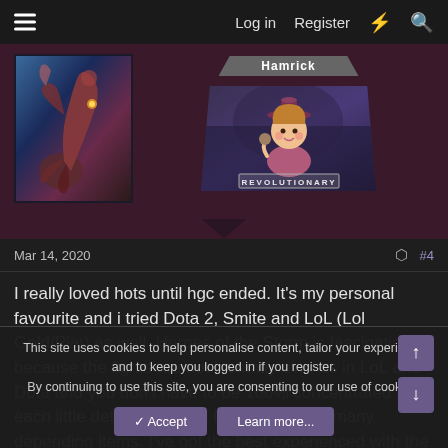Log in  Register
[Figure (screenshot): Forum profile area with avatar image of a fantasy creature and a badge showing a cartoon girl character labeled REVOLUTIONARY]
Mar 14, 2020
#4
I really loved hots until hgc ended. It's my personal favourite and i tried Dota 2, Smite and LoL (Lol Gold/Plat) as well. Heroes of the Storm is fascinating because the fights are not instantly over as in LoL and Dota and you don't have to be 100% concentrated for each little detail as minion lasthits and too many depending items. I've got the best experienced with the community until season 3 (because now only idiots play that game and/or the
This site uses cookies to help personalise content, tailor your experience and to keep you logged in if you register.
By continuing to use this site, you are consenting to our use of cookies.